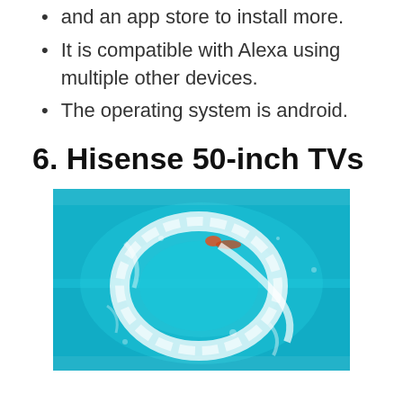and an app store to install more.
It is compatible with Alexa using multiple other devices.
The operating system is android.
6. Hisense 50-inch TVs
[Figure (photo): Aerial view of a jet ski making a circular wake pattern in turquoise water]